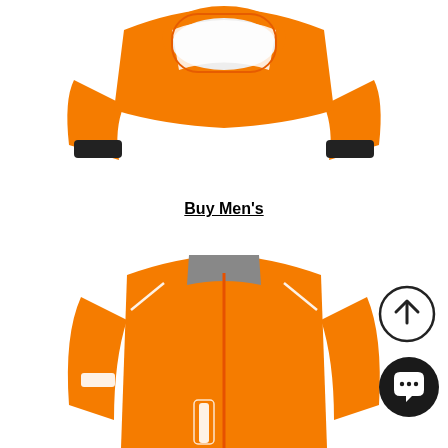[Figure (photo): Top portion of an orange cycling jacket showing the collar area with white interior lining and black cuffs on both arms, viewed from above on white background.]
Buy Men's
[Figure (photo): Full front view of an orange women's cycling jacket with a full-length orange zipper, grey collar, white reflective stripes on shoulders and pocket area, and a white reflective band on the left sleeve, on a white background. A circular scroll-up arrow button and a dark circular chat button are overlaid in the bottom right corner.]